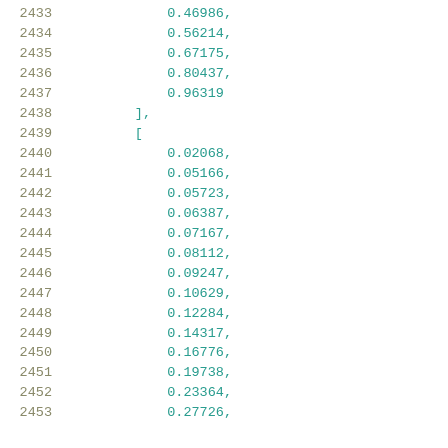Code listing showing array values at lines 2433-2453, including numeric values 0.46986 through 0.96319 and a second array starting with 0.02068 through 0.27726